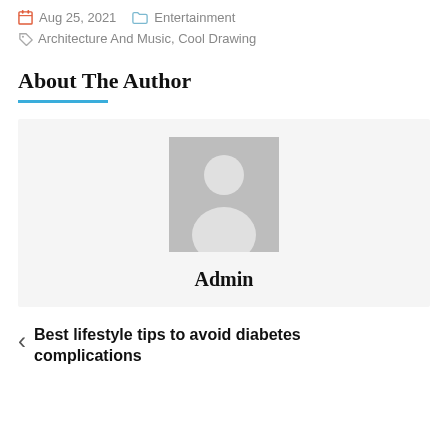Aug 25, 2021  Entertainment
Architecture And Music, Cool Drawing
About The Author
[Figure (illustration): Default author avatar placeholder image showing a silhouette of a person on grey background]
Admin
Best lifestyle tips to avoid diabetes complications